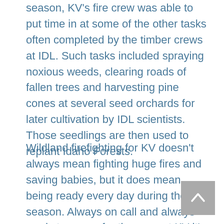season, KV's fire crew was able to put time in at some of the other tasks often completed by the timber crews at IDL. Such tasks included spraying noxious weeds, clearing roads of fallen trees and harvesting pine cones at several seed orchards for later cultivation by IDL scientists. Those seedlings are then used to replant Idaho Forests.
Wildland firefighting for KV doesn't always mean fighting huge fires and saving babies, but it does mean being ready every day during the season. Always on call and always ready to serve, for the crew at KV it's a kind of brotherhood as they push each other during training so when they are in the thick of it they know they